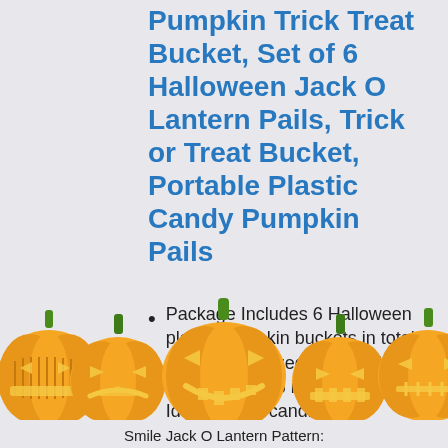Pumpkin Trick Treat Bucket, Set of 6 Halloween Jack O Lantern Pails, Trick or Treat Bucket, Portable Plastic Candy Pumpkin Pails
Package Includes 6 Halloween plastic pumpkin buckets in total, and each is sized 5.1 inch in diameter and 6 inch in height. Ideal to hold candies,
[Figure (illustration): A row of 6 orange Halloween jack-o-lantern pumpkins with various carved face expressions, each with a green stem on top, overlapping across the bottom of the page.]
Smile Jack O Lantern Pattern: